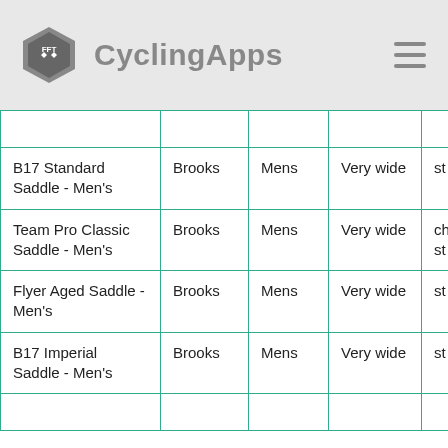CyclingApps
| Product | Brand | Gender | Width | ... |
| --- | --- | --- | --- | --- |
| B17 Standard Saddle - Men's | Brooks | Mens | Very wide | st |
| Team Pro Classic Saddle - Men's | Brooks | Mens | Very wide | ch st |
| Flyer Aged Saddle - Men's | Brooks | Mens | Very wide | st |
| B17 Imperial Saddle - Men's | Brooks | Mens | Very wide | st |